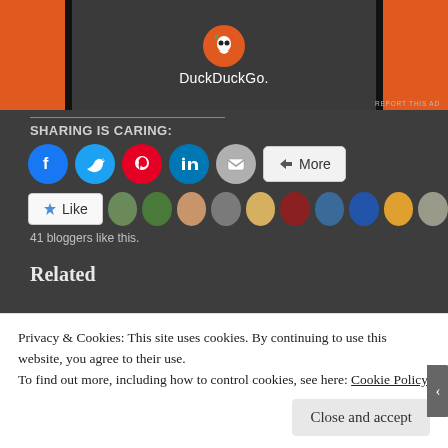[Figure (screenshot): DuckDuckGo advertisement banner with orange side bars and dark center showing DuckDuckGo logo and text]
SHARING IS CARING:
[Figure (infographic): Social sharing buttons: Facebook (blue circle), Twitter (blue circle), Pinterest (red circle), LinkedIn (blue circle), Email (grey circle), More button]
[Figure (infographic): Like button with star icon followed by 9 blogger avatar thumbnails. Text: 41 bloggers like this.]
41 bloggers like this.
Related
Privacy & Cookies: This site uses cookies. By continuing to use this website, you agree to their use.
To find out more, including how to control cookies, see here: Cookie Policy